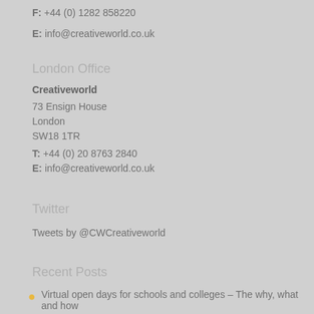F: +44 (0) 1282 858220
E: info@creativeworld.co.uk
London Office
Creativeworld
73 Ensign House
London
SW18 1TR
T: +44 (0) 20 8763 2840
E: info@creativeworld.co.uk
Twitter
Tweets by @CWCreativeworld
Recent Posts
Virtual open days for schools and colleges – The why, what and how